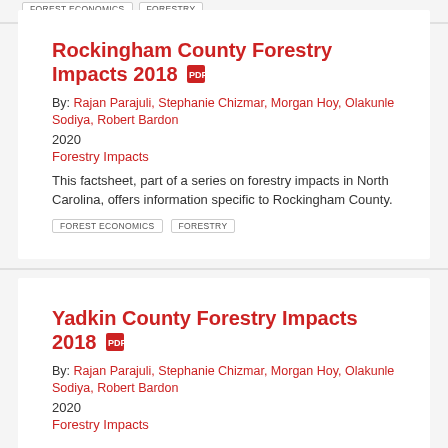FOREST ECONOMICS  FORESTRY
Rockingham County Forestry Impacts 2018
By: Rajan Parajuli, Stephanie Chizmar, Morgan Hoy, Olakunle Sodiya, Robert Bardon
2020
Forestry Impacts
This factsheet, part of a series on forestry impacts in North Carolina, offers information specific to Rockingham County.
FOREST ECONOMICS  FORESTRY
Yadkin County Forestry Impacts 2018
By: Rajan Parajuli, Stephanie Chizmar, Morgan Hoy, Olakunle Sodiya, Robert Bardon
2020
Forestry Impacts